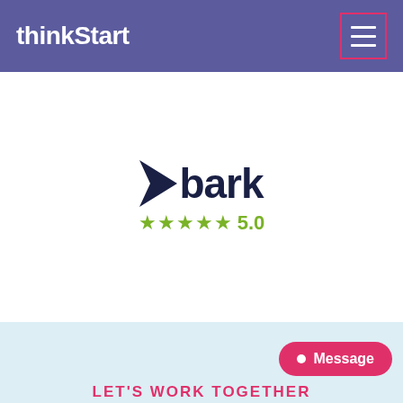thinkStart
[Figure (logo): Bark logo with arrow icon and 5 star rating showing 5.0]
LET'S WORK TOGETHER